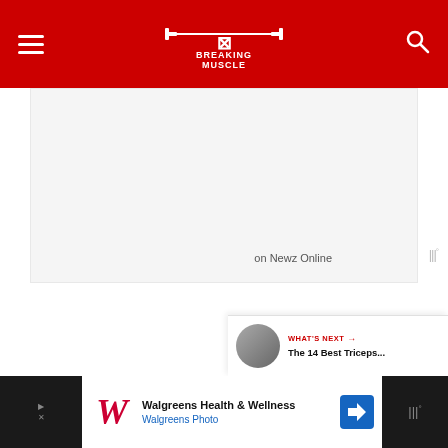Breaking Muscle
[Figure (screenshot): Advertisement banner area with light gray background]
on Newz Online
[Figure (infographic): Red circular heart/like button]
[Figure (infographic): White circular share button with red share icon]
[Figure (infographic): What's Next preview card showing article thumbnail and title 'The 14 Best Triceps...']
[Figure (screenshot): Walgreens Health & Wellness advertisement banner at bottom of page]